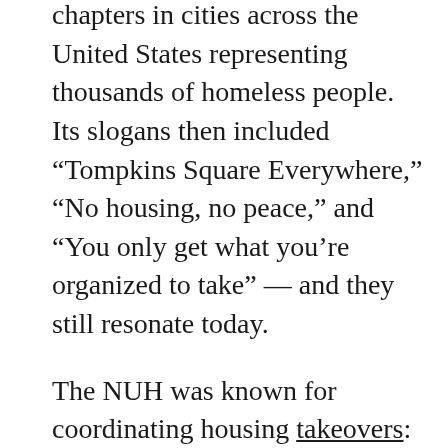chapters in cities across the United States representing thousands of homeless people.  Its slogans then included “Tompkins Square Everywhere,” “No housing, no peace,” and “You only get what you’re organized to take” — and they still resonate today.
The NUH was known for coordinating housing takeovers: those lacking housing moved into abandoned, government-owned dwellings in a politicized and organized way. The spectacle of homeless people directly challenging public property in the name of survival was striking. In fact, in the 1980s and 1990s, these bold actions